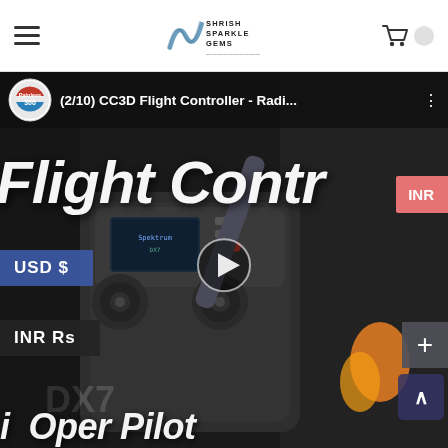SHRISH SPARKLE GEMS — navigation bar with hamburger menu and cart icon
[Figure (screenshot): Video thumbnail/screenshot of CC3D Flight Controller RC radio content. Shows a Spektrum DX7 radio controller on a carbon fiber surface. Overlaid text reads 'Flight Contr' in large italic white font and bottom text 'i Oper Pilot'. Video title bar shows '(2/10) CC3D Flight Controller - Radi...' with Painless360 logo badge. Currency overlay buttons: 'USD $' in blue and 'INR Rs' in dark. INR button on right side. Plus button and scroll-up arrow button visible. Play button triangle in center.]